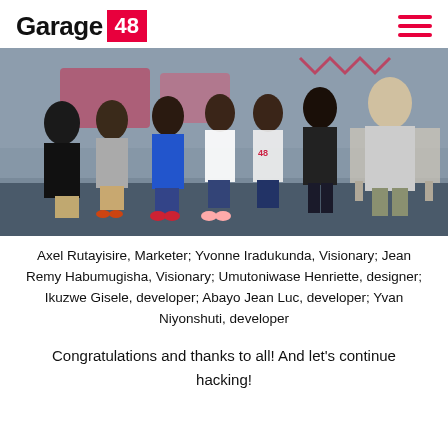Garage 48
[Figure (photo): Group of young people standing in a room, some wearing Garage 48 branded t-shirts, at what appears to be a hackathon event.]
Axel Rutayisire, Marketer; Yvonne Iradukunda, Visionary; Jean Remy Habumugisha, Visionary; Umutoniwase Henriette, designer; Ikuzwe Gisele, developer; Abayo Jean Luc, developer; Yvan Niyonshuti, developer
Congratulations and thanks to all! And let's continue hacking!